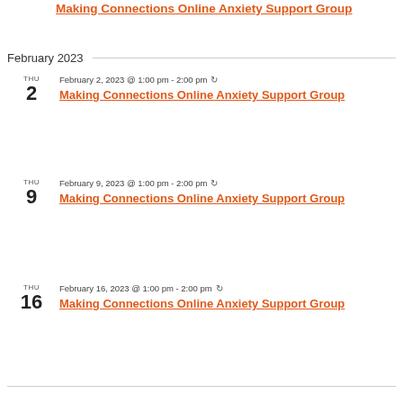Making Connections Online Anxiety Support Group
February 2023
THU 2 — February 2, 2023 @ 1:00 pm - 2:00 pm
Making Connections Online Anxiety Support Group
THU 9 — February 9, 2023 @ 1:00 pm - 2:00 pm
Making Connections Online Anxiety Support Group
THU 16 — February 16, 2023 @ 1:00 pm - 2:00 pm
Making Connections Online Anxiety Support Group